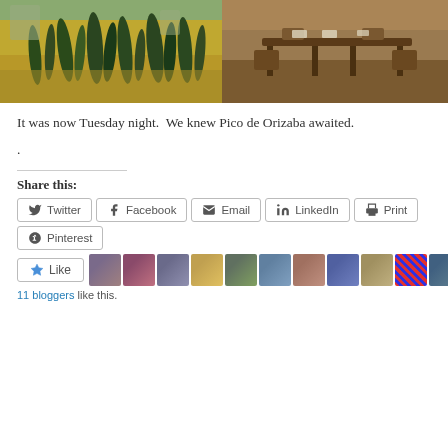[Figure (photo): Two side-by-side photos: left shows tall grasses and plants in a field with stone structures in background; right shows a rustic wooden dining table and chairs in a stone-walled room.]
It was now Tuesday night.  We knew Pico de Orizaba awaited.
.
Share this:
Twitter
Facebook
Email
LinkedIn
Print
Pinterest
[Figure (photo): Like button followed by 11 avatar thumbnails of bloggers who liked the post.]
11 bloggers like this.